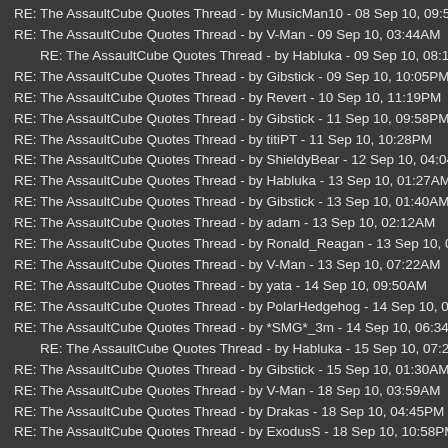RE: The AssaultCube Quotes Thread - by MusicMan10 - 08 Sep 10, 09:52PM
RE: The AssaultCube Quotes Thread - by V-Man - 09 Sep 10, 03:44AM
RE: The AssaultCube Quotes Thread - by Habluka - 09 Sep 10, 08:10AM
RE: The AssaultCube Quotes Thread - by Gibstick - 09 Sep 10, 10:05PM
RE: The AssaultCube Quotes Thread - by Revert - 10 Sep 10, 11:19PM
RE: The AssaultCube Quotes Thread - by Gibstick - 11 Sep 10, 09:58PM
RE: The AssaultCube Quotes Thread - by titiPT - 11 Sep 10, 10:28PM
RE: The AssaultCube Quotes Thread - by ShieldyBear - 12 Sep 10, 04:04PM
RE: The AssaultCube Quotes Thread - by Habluka - 13 Sep 10, 01:27AM
RE: The AssaultCube Quotes Thread - by Gibstick - 13 Sep 10, 01:40AM
RE: The AssaultCube Quotes Thread - by adam - 13 Sep 10, 02:12AM
RE: The AssaultCube Quotes Thread - by Ronald_Reagan - 13 Sep 10, 06:00A
RE: The AssaultCube Quotes Thread - by V-Man - 13 Sep 10, 07:22AM
RE: The AssaultCube Quotes Thread - by yata - 14 Sep 10, 09:50AM
RE: The AssaultCube Quotes Thread - by PolarHedgehog - 14 Sep 10, 03:05P
RE: The AssaultCube Quotes Thread - by *SMG*_3m - 14 Sep 10, 06:34PM
RE: The AssaultCube Quotes Thread - by Habluka - 15 Sep 10, 07:27AM
RE: The AssaultCube Quotes Thread - by Gibstick - 15 Sep 10, 01:30AM
RE: The AssaultCube Quotes Thread - by V-Man - 18 Sep 10, 03:59AM
RE: The AssaultCube Quotes Thread - by Drakas - 18 Sep 10, 04:45PM
RE: The AssaultCube Quotes Thread - by ExodusS - 18 Sep 10, 10:58PM
RE: The AssaultCube Quotes Thread - by spamma - 19 Sep 10, 12:01AM
RE: The AssaultCube Quotes Thread - by Ronald_Reagan - 19 Sep 10, 09:15A
RE: The AssaultCube Quotes Thread - by Gibstick - 20 Sep 10, 10:35PM
RE: The AssaultCube Quotes Thread - by ...